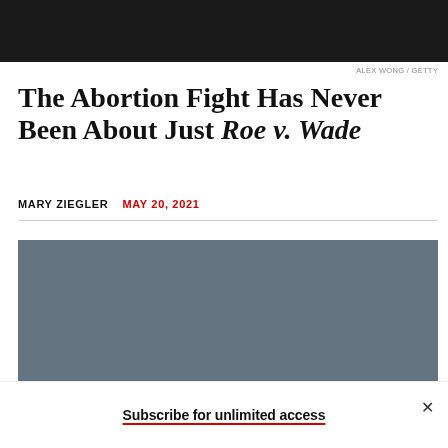[Figure (photo): Black and white photograph at top of page, partially visible]
ALEX WONG / GETTY
The Abortion Fight Has Never Been About Just Roe v. Wade
MARY ZIEGLER   MAY 20, 2021
[Figure (photo): Gray blurred/obscured image block (subscription paywall overlay)]
Subscribe for unlimited access